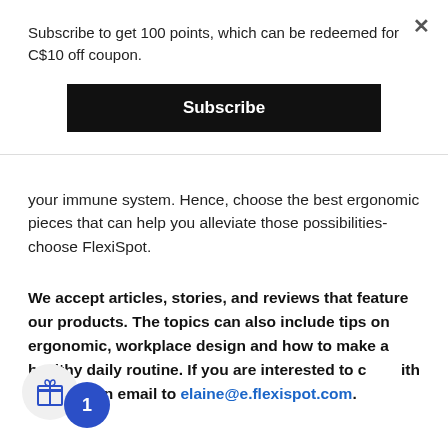Subscribe to get 100 points, which can be redeemed for C$10 off coupon.
Subscribe
your immune system. Hence, choose the best ergonomic pieces that can help you alleviate those possibilities-choose FlexiSpot.
We accept articles, stories, and reviews that feature our products. The topics can also include tips on ergonomic, workplace design and how to make a healthy daily routine. If you are interested to collaborate with us, send an email to elaine@e.flexispot.com.